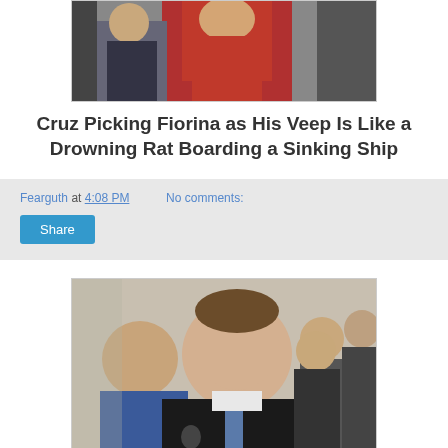[Figure (photo): Top portion of a photo showing a person in a red dress on a stage or public setting]
Cruz Picking Fiorina as His Veep Is Like a Drowning Rat Boarding a Sinking Ship
Fearguth at 4:08 PM   No comments:
Share
[Figure (photo): Photo of a man in a dark suit at a podium or press conference setting, with other people visible in the background]